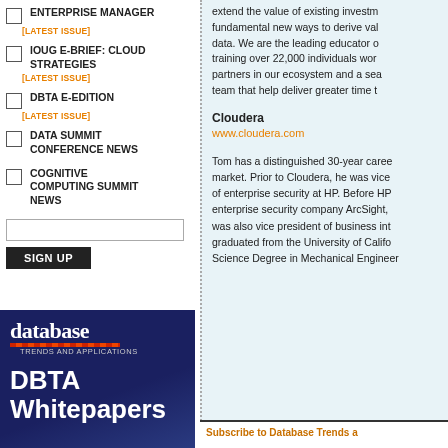ENTERPRISE MANAGER [LATEST ISSUE]
IOUG E-BRIEF: CLOUD STRATEGIES [LATEST ISSUE]
DBTA E-EDITION [LATEST ISSUE]
DATA SUMMIT CONFERENCE NEWS
COGNITIVE COMPUTING SUMMIT NEWS
[Figure (screenshot): Email input field and SIGN UP button for newsletter subscription]
[Figure (logo): database TRENDS AND APPLICATIONS - DBTA Whitepapers banner ad with dark blue background]
extend the value of existing investm fundamental new ways to derive val data. We are the leading educator o training over 22,000 individuals wor partners in our ecosystem and a sea team that help deliver greater time t
Cloudera
www.cloudera.com
Tom has a distinguished 30-year caree market. Prior to Cloudera, he was vice of enterprise security at HP. Before HP enterprise security company ArcSight, was also vice president of business int graduated from the University of Califo Science Degree in Mechanical Engineer
Subscribe to Database Trends a